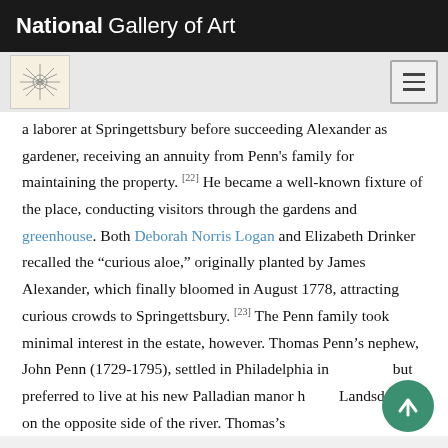National Gallery of Art
a laborer at Springettsbury before succeeding Alexander as gardener, receiving an annuity from Penn's family for maintaining the property. [22] He became a well-known fixture of the place, conducting visitors through the gardens and greenhouse. Both Deborah Norris Logan and Elizabeth Drinker recalled the “curious aloe,” originally planted by James Alexander, which finally bloomed in August 1778, attracting curious crowds to Springettsbury. [23] The Penn family took minimal interest in the estate, however. Thomas Penn’s nephew, John Penn (1729-1795), settled in Philadelphia in but preferred to live at his new Palladian manor ho Landsdowne, on the opposite side of the river. Thomas’s